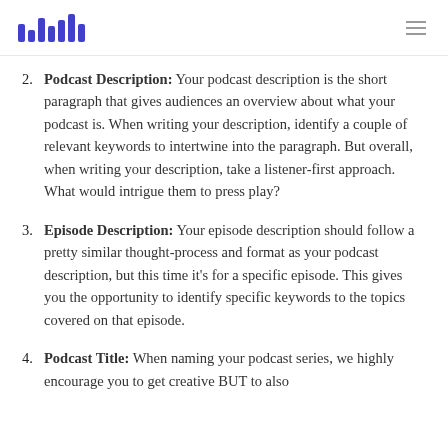Buzzsprout logo and navigation
Podcast Description: Your podcast description is the short paragraph that gives audiences an overview about what your podcast is. When writing your description, identify a couple of relevant keywords to intertwine into the paragraph. But overall, when writing your description, take a listener-first approach. What would intrigue them to press play?
Episode Description: Your episode description should follow a pretty similar thought-process and format as your podcast description, but this time it's for a specific episode. This gives you the opportunity to identify specific keywords to the topics covered on that episode.
Podcast Title: When naming your podcast series, we highly encourage you to get creative BUT to also...